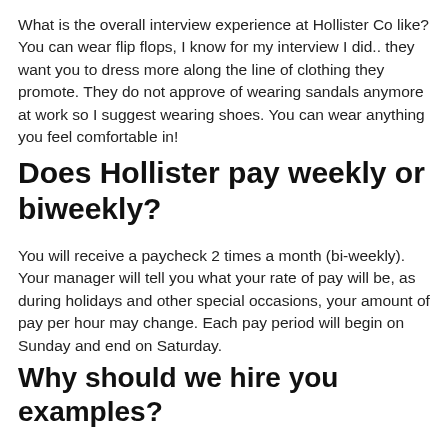What is the overall interview experience at Hollister Co like? You can wear flip flops, I know for my interview I did.. they want you to dress more along the line of clothing they promote. They do not approve of wearing sandals anymore at work so I suggest wearing shoes. You can wear anything you feel comfortable in!
Does Hollister pay weekly or biweekly?
You will receive a paycheck 2 times a month (bi-weekly). Your manager will tell you what your rate of pay will be, as during holidays and other special occasions, your amount of pay per hour may change. Each pay period will begin on Sunday and end on Saturday.
Why should we hire you examples?
Make his job easier by convincing him that: You can do the work and deliver exceptional results. You will fit in beautifully and be a